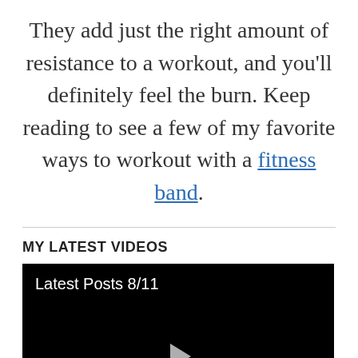They add just the right amount of resistance to a workout, and you'll definitely feel the burn. Keep reading to see a few of my favorite ways to workout with a fitness band.
MY LATEST VIDEOS
[Figure (screenshot): Video player with black background showing title 'Latest Posts 8/11' and a play button triangle in the center, with a gray control bar at the bottom.]